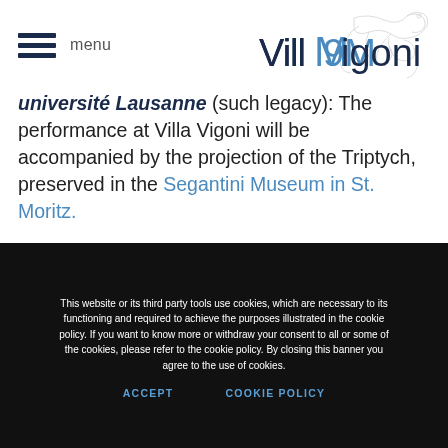menu | VillaVigoni
université Lausanne (such legacy): The performance at Villa Vigoni will be accompanied by the projection of the Triptych, preserved in the Segantini Museum in St. Moritz.
This website or its third party tools use cookies, which are necessary to its functioning and required to achieve the purposes illustrated in the cookie policy. If you want to know more or withdraw your consent to all or some of the cookies, please refer to the cookie policy. By closing this banner you agree to the use of cookies.
ACCEPT | COOKIE POLICY